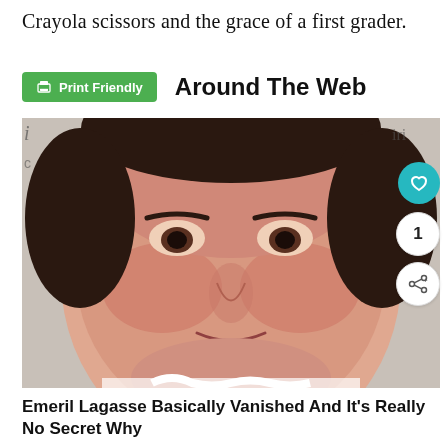Crayola scissors and the grace of a first grader.
Around The Web
[Figure (photo): Close-up photograph of a heavyset man with dark hair, rosy complexion, wearing a white collared shirt. Partially visible text/logo in upper corners.]
Emeril Lagasse Basically Vanished And It's Really No Secret Why